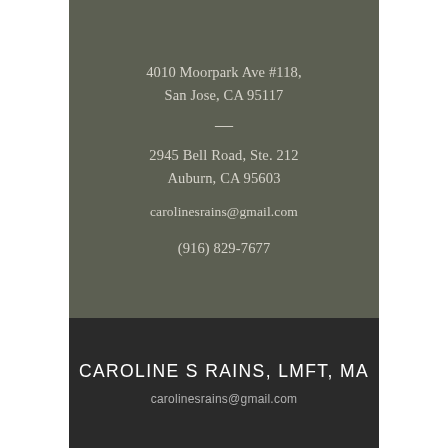4010 Moorpark Ave #118,
San Jose, CA 95117
—
2945 Bell Road, Ste. 212
Auburn, CA 95603
carolinesrains@gmail.com
(916) 829-7677
CAROLINE S RAINS, LMFT, MA
carolinesrains@gmail.com